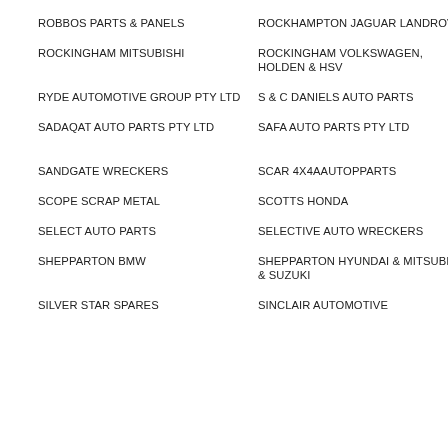ROBBOS PARTS & PANELS
ROCKHAMPTON JAGUAR LANDROVER
ROCKL
ROCKINGHAM MITSUBISHI
ROCKINGHAM VOLKSWAGEN, HOLDEN & HSV
ROCKL
RYDE AUTOMOTIVE GROUP PTY LTD
S & C DANIELS AUTO PARTS
S TWIN
SADAQAT AUTO PARTS PTY LTD
SAFA AUTO PARTS PTY LTD
SAFE T WHEEL ALIGNM
SANDGATE WRECKERS
SCAR 4X4AAUTOPPARTS
SCARB
SCOPE SCRAP METAL
SCOTTS HONDA
SCOTT
SELECT AUTO PARTS
SELECTIVE AUTO WRECKERS
SEXTO & SERV
SHEPPARTON BMW
SHEPPARTON HYUNDAI & MITSUBISHI & SUZUKI
SHEPP
SILVER STAR SPARES
SINCLAIR AUTOMOTIVE
SKIPPE PARTS